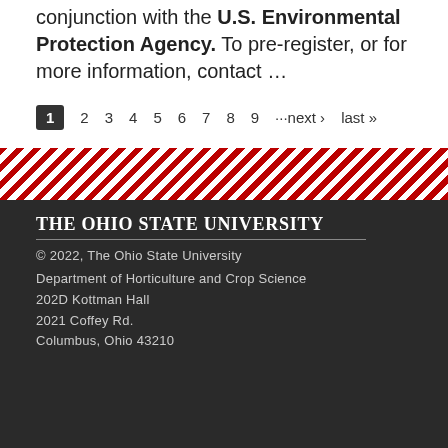conjunction with the U.S. Environmental Protection Agency. To pre-register, or for more information, contact ...
1 2 3 4 5 6 7 8 9 ···next › last »
[Figure (other): Diagonal red and white stripe decorative band]
The Ohio State University
© 2022, The Ohio State University
Department of Horticulture and Crop Science
202D Kottman Hall
2021 Coffey Rd.
Columbus, Ohio 43210